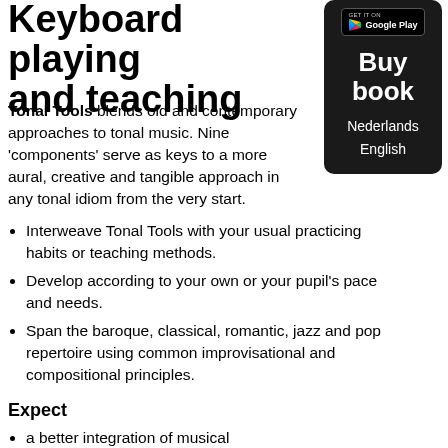Keyboard playing and teaching
[Figure (logo): Google Play badge]
[Figure (other): Buy book panel with Nederlands and English options]
Tonal Tools blends old and contemporary approaches to tonal music. Nine 'components' serve as keys to a more aural, creative and tangible approach in any tonal idiom from the very start.
Interweave Tonal Tools with your usual practicing habits or teaching methods.
Develop according to your own or your pupil's pace and needs.
Span the baroque, classical, romantic, jazz and pop repertoire using common improvisational and compositional principles.
Expect
a better integration of musical